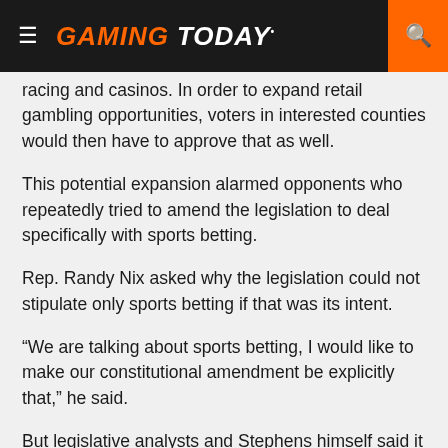GAMING TODAY
racing and casinos. In order to expand retail gambling opportunities, voters in interested counties would then have to approve that as well.
This potential expansion alarmed opponents who repeatedly tried to amend the legislation to deal specifically with sports betting.
Rep. Randy Nix asked why the legislation could not stipulate only sports betting if that was its intent.
“We are talking about sports betting, I would like to make our constitutional amendment be explicitly that,” he said.
But legislative analysts and Stephens himself said it would be too problematic to extend just one type of betting in a referendum.